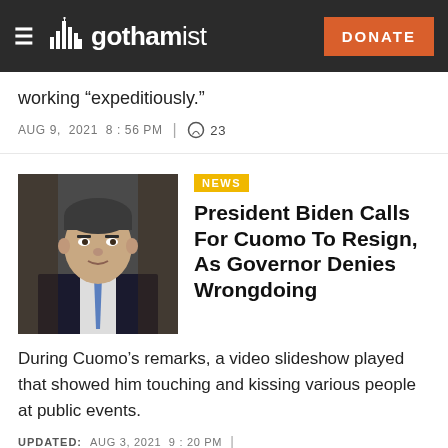gothamist — DONATE
working "expeditiously."
AUG 9, 2021 8:56 PM | 23
NEWS
President Biden Calls For Cuomo To Resign, As Governor Denies Wrongdoing
During Cuomo's remarks, a video slideshow played that showed him touching and kissing various people at public events.
UPDATED: AUG 3, 2021 9:20 PM | 247